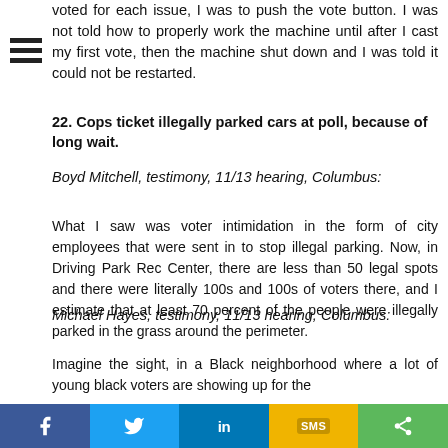voted for each issue, I was to push the vote button. I was not told how to properly work the machine until after I cast my first vote, then the machine shut down and I was told it could not be restarted.
22. Cops ticket illegally parked cars at poll, because of long wait.
Boyd Mitchell, testimony, 11/13 hearing, Columbus:
What I saw was voter intimidation in the form of city employees that were sent in to stop illegal parking. Now, in Driving Park Rec Center, there are less than 50 legal spots and there were literally 100s and 100s of voters there, and I estimate that at least 70 percent of the people were illegally parked in the grass around the perimeter.
Michael Hayes, testimony, 11/13 hearing, Columbus:
Imagine the sight, in a Black neighborhood where a lot of young black voters are showing up for the